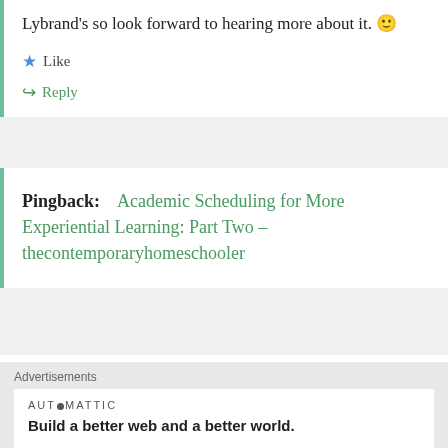Lybrand’s so look forward to hearing more about it. 🙂
★ Like
↳ Reply
Pingback: Academic Scheduling for More Experiential Learning: Part Two – thecontemporaryhomeschooler
Kelli Durham
August 2, 2016 at 5:10 pm
I enjoyed reading your posts. May I ask what are
Advertisements
AUT●MATTIC
Build a better web and a better world.